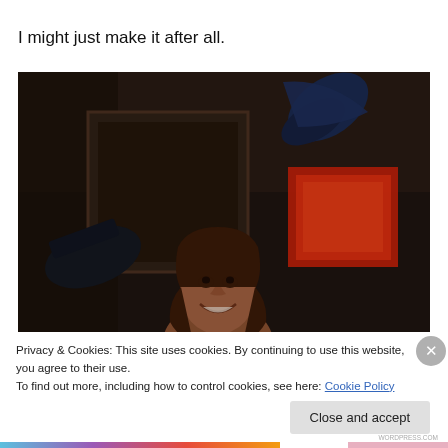I might just make it after all.
[Figure (photo): A woman looking upward and smiling, with a dark indoor background featuring a bright red/orange square of light and a dark object flying in the air above her.]
Privacy & Cookies: This site uses cookies. By continuing to use this website, you agree to their use.
To find out more, including how to control cookies, see here: Cookie Policy
Close and accept